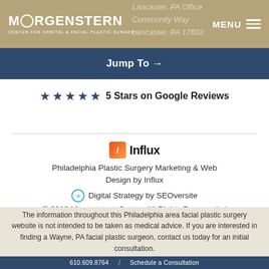MORGENSTERN CENTER FOR ORBITAL & FACIAL PLASTIC SURGERY
Jump To →
★★★★★ 5 Stars on Google Reviews
[Figure (logo): Influx marketing company logo — orange/red gradient square with italic i, followed by bold Influx text]
Philadelphia Plastic Surgery Marketing & Web Design by Influx
Digital Strategy by SEOversite
© 2019 Morgenstern Center. All Rights Reserved  |  Accessibility
The information throughout this Philadelphia area facial plastic surgery website is not intended to be taken as medical advice. If you are interested in finding a Wayne, PA facial plastic surgeon, contact us today for an initial consultation.
610.609.8764  /  Schedule a Consultation